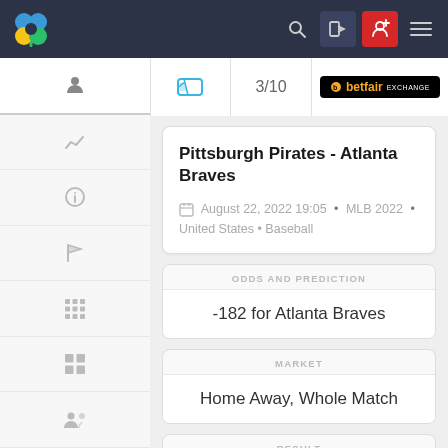[Figure (screenshot): Top navigation bar with shamrock logo (blue/yellow/green), search icon, login icon, register icon (red), and hamburger menu on dark background]
[Figure (screenshot): Sub-header row showing ticket icon, pagination 3/10, and Betfair Exchange logo]
[Figure (screenshot): Left sidebar with user, chart, info, flag, grid (3x3), grid (2x2), and group icons]
Pittsburgh Pirates - Atlanta Braves
August 22, 2022 19:05 • MLB 2022 • United States • Baseball
ODDS AND PREDICTION
-182 for Atlanta Braves
MARKET
Home Away, Whole Match
RESULT
-